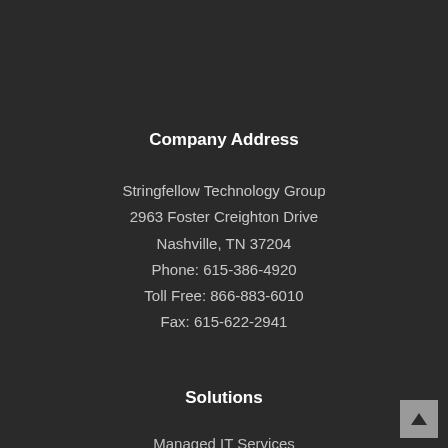Company Address
Stringfellow Technology Group
2963 Foster Creighton Drive
Nashville, TN 37204
Phone: 615-386-4920
Toll Free: 866-883-6010
Fax: 615-622-2941
Solutions
Managed IT Services
Collaboration and Remote Access
Microsoft Cloud Solutions
Security and Backup